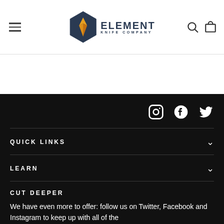[Figure (logo): Element Knife Company logo with hexagon icon containing a knife/spark symbol in orange and yellow, and the text ELEMENT KNIFE COMPANY]
[Figure (screenshot): Navigation header with hamburger menu icon on left, Element Knife Company logo in center, search and cart icons on right]
[Figure (infographic): Social media icons for Instagram, Facebook, and Twitter in white on dark background]
QUICK LINKS
LEARN
CUT DEEPER
We have even more to offer: follow us on Twitter, Facebook and Instagram to keep up with all of the